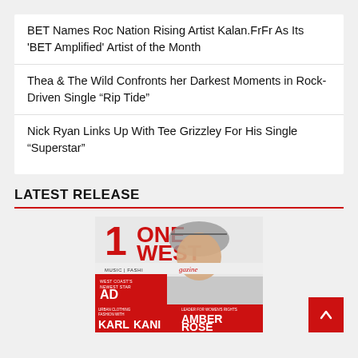BET Names Roc Nation Rising Artist Kalan.FrFr As Its ‘BET Amplified’ Artist of the Month
Thea & The Wild Confronts her Darkest Moments in Rock-Driven Single “Rip Tide”
Nick Ryan Links Up With Tee Grizzley For His Single “Superstar”
LATEST RELEASE
[Figure (photo): OneWest Magazine cover featuring a woman wearing a sparkly hat, with text reading ONE WEST, MUSIC | FASHION | magazine, WEST COAST'S NEWEST STAR AD, URBAN CLOTHING FASHION WITH KARL KANI, LEADER FOR WOMEN'S RIGHTS AMBER ROSE]